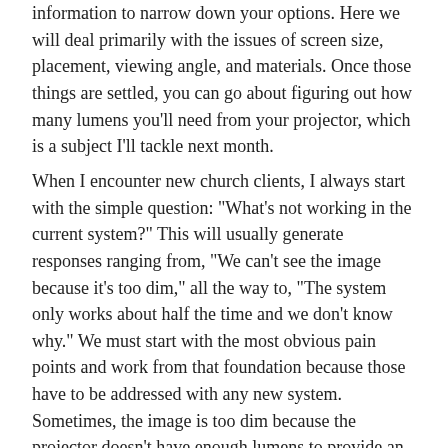information to narrow down your options. Here we will deal primarily with the issues of screen size, placement, viewing angle, and materials. Once those things are settled, you can go about figuring out how many lumens you'll need from your projector, which is a subject I'll tackle next month.
When I encounter new church clients, I always start with the simple question: "What's not working in the current system?" This will usually generate responses ranging from, "We can't see the image because it's too dim," all the way to, "The system only works about half the time and we don't know why." We must start with the most obvious pain points and work from that foundation because those have to be addressed with any new system. Sometimes, the image is too dim because the projector doesn't have enough lumens to provide an adequate image at the desired size; other times the ambient light in the space is overwhelming the image on the screen. Many times, it is a combination of these and other issues. Bottom line: write down a list of what is not working